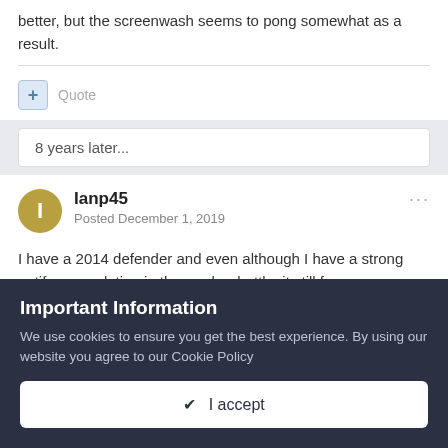better, but the screenwash seems to pong somewhat as a result.
Quote
8 years later...
Ianp45
Posted December 1, 2019
I have a 2014 defender and even although I have a strong antifreeze solution in the washer bottle  it still freezes, even
Important Information
We use cookies to ensure you get the best experience. By using our website you agree to our Cookie Policy
✔ I accept